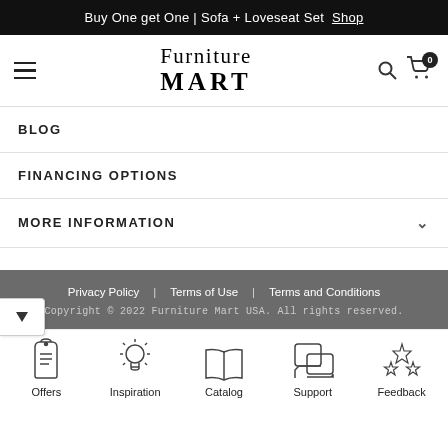Buy One get One | Sofa + Loveseat Set Shop
[Figure (logo): Furniture Mart logo with hamburger menu, search icon, and cart icon with 0 badge]
BLOG
FINANCING OPTIONS
MORE INFORMATION ˅
Privacy Policy   Terms of Use   Terms and Conditions
Copyright © 2022 Furniture Mart USA. All rights reserved.
[Figure (infographic): Bottom navigation bar with icons: Offers (price tag), Inspiration (lightbulb), Catalog (open book), Support (chat bubbles), Feedback (stars)]